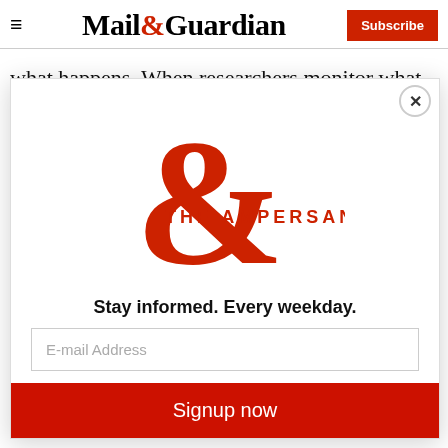Mail&Guardian | Subscribe
what happens. When researchers monitor what happens in the petri dish, they're looking to see how well the antibodies derived from vaccines or natural infection ca... v... e...
[Figure (logo): The Ampersand newsletter logo — large red ampersand with 'THE AMPERSAND' text]
Stay informed. Every weekday.
E-mail Address
Signup now